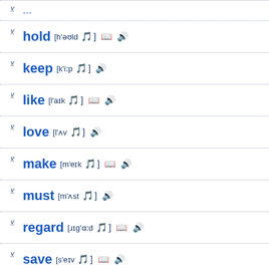v hold [h'əʊld 🎵] 📖 🔊
v keep [k'iːp 🎵] 🔊
v like [l'aɪk 🎵] 📖 🔊
v love [l'ʌv 🎵] 🔊
v make [m'eɪk 🎵] 📖 🔊
v must [m'ʌst 🎵] 🔊
v regard [ɹɪg'ɑːd 🎵] 📖 🔊
v save [s'eɪv 🎵] 📖 🔊
v shall [ʃ'al 🎵] 🔊